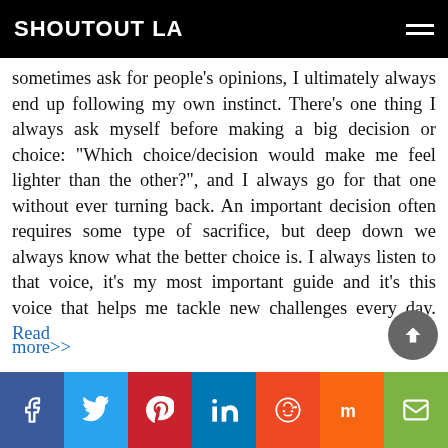SHOUTOUT LA
sometimes ask for people's opinions, I ultimately always end up following my own instinct. There's one thing I always ask myself before making a big decision or choice: “Which choice/decision would make me feel lighter than the other?”, and I always go for that one without ever turning back. An important decision often requires some type of sacrifice, but deep down we always know what the better choice is. I always listen to that voice, it’s my most important guide and it’s this voice that helps me tackle new challenges every day. Read more>>